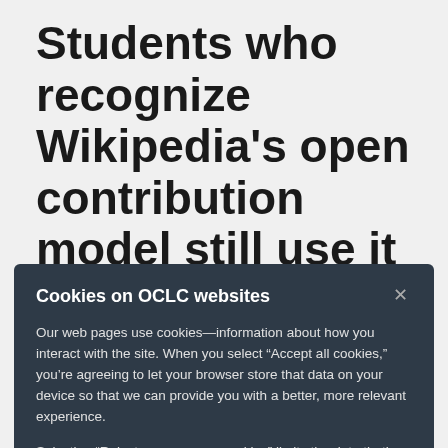Students who recognize Wikipedia's open contribution model still use it
A total of 99 participants mentioned Wikipedia's contribution model, and 70 thought this characteristic was undesirable. As mentioned
Cookies on OCLC websites
Our web pages use cookies—information about how you interact with the site. When you select "Accept all cookies," you're agreeing to let your browser store that data on your device so that we can provide you with a better, more relevant experience.
Selecting "Reject unnecessary cookies" limits the data that's stored to what's strictly necessary for using the site. However, that may negatively impact your experience. You can also customize your cookie settings.